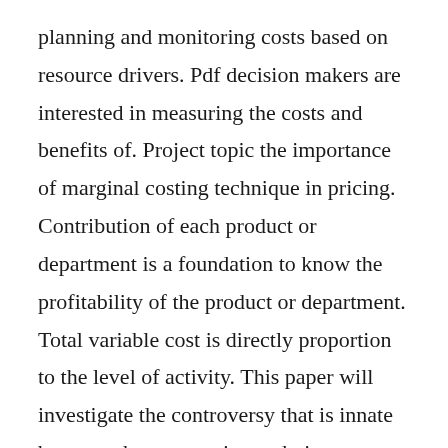planning and monitoring costs based on resource drivers. Pdf decision makers are interested in measuring the costs and benefits of. Project topic the importance of marginal costing technique in pricing. Contribution of each product or department is a foundation to know the profitability of the product or department. Total variable cost is directly proportion to the level of activity. This paper will investigate the controversy that is innate between the two costing techniques. Marginal costing is perhaps the most interesting topic in this subject in management accounting...